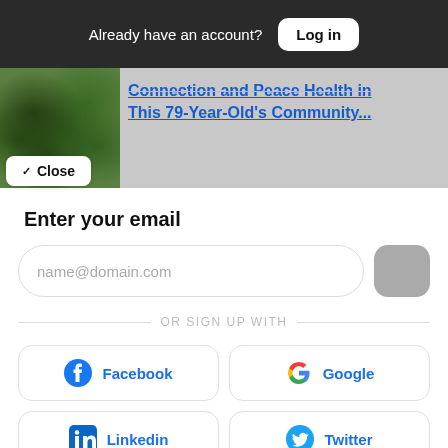Already have an account? Log in
[Figure (photo): Article preview strip with plant/herb image and partially visible article title about Connection and Peace Health in This 79-Year-Old's Community...]
✓ Close
Enter your email
name@domain.com
OR SIGN UP WITH
Facebook
Google
Linkedin
Twitter
Member profiles are powered by Pico. By signing up, you agree to Pico's Terms.